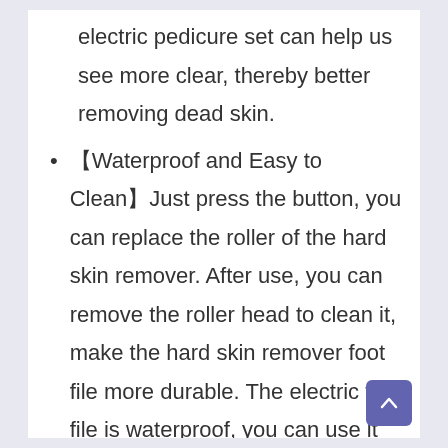electric pedicure set can help us see more clear, thereby better removing dead skin.
【Waterproof and Easy to Clean】Just press the button, you can replace the roller of the hard skin remover. After use, you can remove the roller head to clean it, make the hard skin remover foot file more durable. The electric foot file is waterproof, you can use it into the bathroom, but do not immerse